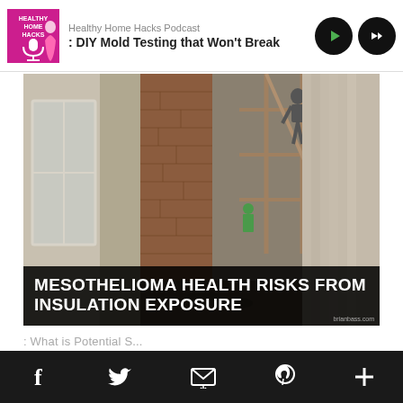Healthy Home Hacks Podcast : DIY Mold Testing that Won't Break
[Figure (photo): Construction/renovation scene showing exposed brick walls, scaffolding, and workers, with text overlay reading MESOTHELIOMA HEALTH RISKS FROM INSULATION EXPOSURE]
MESOTHELIOMA HEALTH RISKS FROM INSULATION EXPOSURE
What is Potential S...
Social share bar with Facebook, Twitter, Email, Pinterest, and More icons